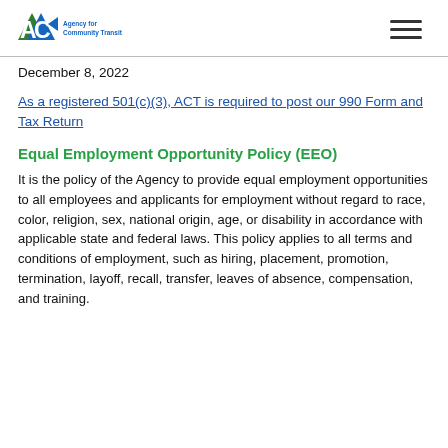ACT Agency for Community Transit
December 8, 2022
As a registered 501(c)(3), ACT is required to post our 990 Form and Tax Return
Equal Employment Opportunity Policy (EEO)
It is the policy of the Agency to provide equal employment opportunities to all employees and applicants for employment without regard to race, color, religion, sex, national origin, age, or disability in accordance with applicable state and federal laws. This policy applies to all terms and conditions of employment, such as hiring, placement, promotion, termination, layoff, recall, transfer, leaves of absence, compensation, and training.